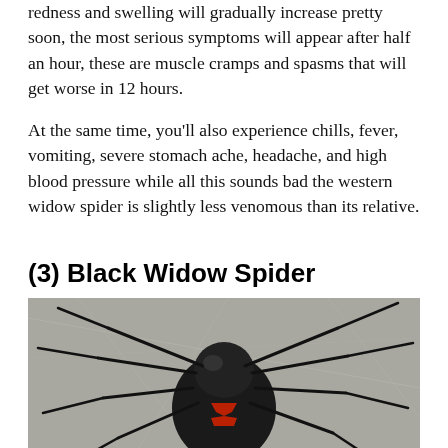redness and swelling will gradually increase pretty soon, the most serious symptoms will appear after half an hour, these are muscle cramps and spasms that will get worse in 12 hours.
At the same time, you'll also experience chills, fever, vomiting, severe stomach ache, headache, and high blood pressure while all this sounds bad the western widow spider is slightly less venomous than its relative.
(3) Black Widow Spider
[Figure (photo): Close-up photograph of a black widow spider viewed from above/front, showing glossy black body with red hourglass markings visible on the abdomen, against a grey background with web strands visible]